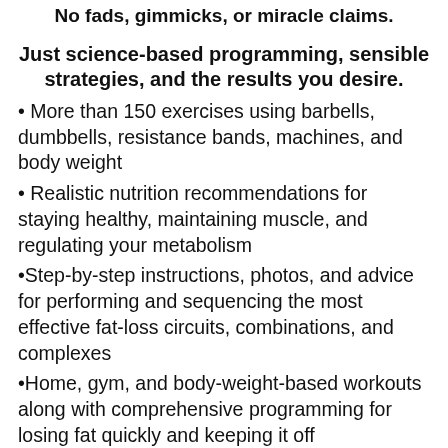No fads, gimmicks, or miracle claims.
Just science-based programming, sensible strategies, and the results you desire.
More than 150 exercises using barbells, dumbbells, resistance bands, machines, and body weight
Realistic nutrition recommendations for staying healthy, maintaining muscle, and regulating your metabolism
Step-by-step instructions, photos, and advice for performing and sequencing the most effective fat-loss circuits, combinations, and complexes
Home, gym, and body-weight-based workouts along with comprehensive programming for losing fat quickly and keeping it off
Whether you’re a beginner looking for a step-by-step guide to fat loss or a seasoned fitness